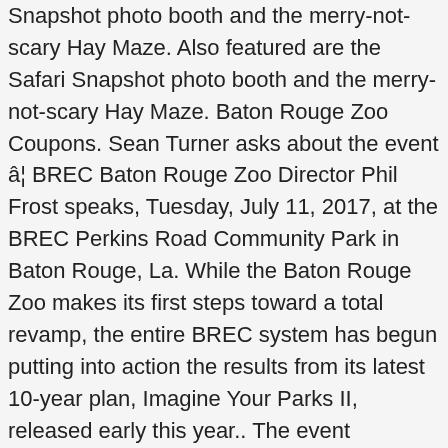Snapshot photo booth and the merry-not-scary Hay Maze. Also featured are the Safari Snapshot photo booth and the merry-not-scary Hay Maze. Baton Rouge Zoo Coupons. Sean Turner asks about the event â€¦ BREC Baton Rouge Zoo Director Phil Frost speaks, Tuesday, July 11, 2017, at the BREC Perkins Road Community Park in Baton Rouge, La. While the Baton Rouge Zoo makes its first steps toward a total revamp, the entire BREC system has begun putting into action the results from its latest 10-year plan, Imagine Your Parks II, released early this year.. The event continues on October 24 and 25, 2015 and Children can visit treat stations throughout the Zoo. Over the past forty years, the Zoo has grown to become the #1 year-round family attraction in Baton Rouge. Admission: The boys' dad, Zachary Didier, left, keeps an eye on the boys, dressed as a dragon and a dinosaur. Also featured are the Safari Snapshot photo booth and the merry-not-scary Hay Maze. The event continues on October 24 and 25, 2015 and Children can visit treat stations throughout the Zoo. The event continues on October 24 and 25, 2015 and Children can visit treat